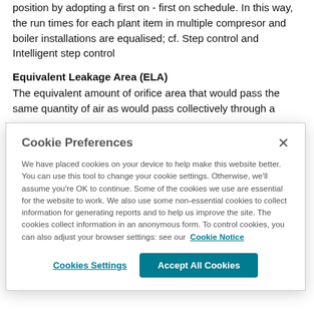position by adopting a first on - first on schedule. In this way, the run times for each plant item in multiple compresor and boiler installations are equalised; cf. Step control and Intelligent step control
Equivalent Leakage Area (ELA)
The equivalent amount of orifice area that would pass the same quantity of air as would pass collectively through a
Cookie Preferences
We have placed cookies on your device to help make this website better. You can use this tool to change your cookie settings. Otherwise, we'll assume you're OK to continue. Some of the cookies we use are essential for the website to work. We also use some non-essential cookies to collect information for generating reports and to help us improve the site. The cookies collect information in an anonymous form. To control cookies, you can also adjust your browser settings: see our Cookie Notice
Cookies Settings
Accept All Cookies